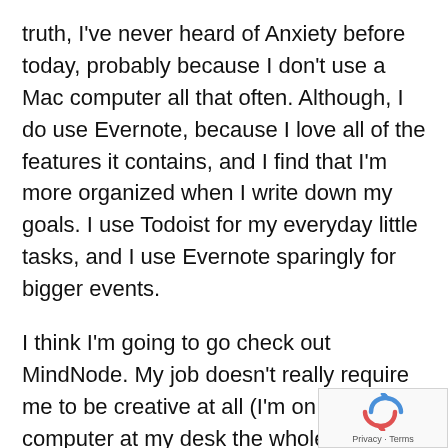truth, I've never heard of Anxiety before today, probably because I don't use a Mac computer all that often. Although, I do use Evernote, because I love all of the features it contains, and I find that I'm more organized when I write down my goals. I use Todoist for my everyday little tasks, and I use Evernote sparingly for bigger events.
I think I'm going to go check out MindNode. My job doesn't really require me to be creative at all (I'm on a computer at my desk the whole day) so this is a pretty new product for me, but the interface and layout looks so clean that I think I'll have a go at it.
[Figure (logo): Google reCAPTCHA badge with rotating arrows icon and Privacy · Terms text]